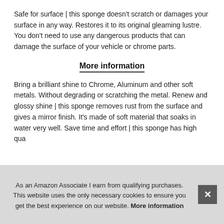Safe for surface | this sponge doesn't scratch or damages your surface in any way. Restores it to its original gleaming lustre. You don't need to use any dangerous products that can damage the surface of your vehicle or chrome parts.
More information
Bring a brilliant shine to Chrome, Aluminum and other soft metals. Without degrading or scratching the metal. Renew and glossy shine | this sponge removes rust from the surface and gives a mirror finish. It's made of soft material that soaks in water very well. Save time and effort | this sponge has high qua...
As an Amazon Associate I earn from qualifying purchases. This website uses the only necessary cookies to ensure you get the best experience on our website. More information